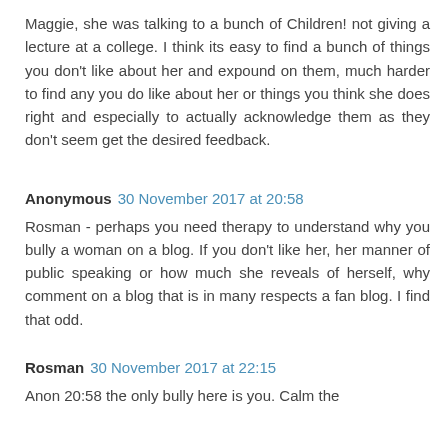Maggie, she was talking to a bunch of Children! not giving a lecture at a college. I think its easy to find a bunch of things you don't like about her and expound on them, much harder to find any you do like about her or things you think she does right and especially to actually acknowledge them as they don't seem get the desired feedback.
Anonymous 30 November 2017 at 20:58
Rosman - perhaps you need therapy to understand why you bully a woman on a blog. If you don't like her, her manner of public speaking or how much she reveals of herself, why comment on a blog that is in many respects a fan blog. I find that odd.
Rosman 30 November 2017 at 22:15
Anon 20:58 the only bully here is you. Calm the